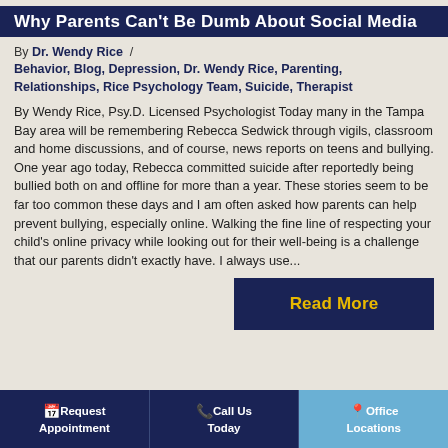Why Parents Can't Be Dumb About Social Media
By Dr. Wendy Rice /
Behavior, Blog, Depression, Dr. Wendy Rice, Parenting, Relationships, Rice Psychology Team, Suicide, Therapist
By Wendy Rice, Psy.D. Licensed Psychologist Today many in the Tampa Bay area will be remembering Rebecca Sedwick through vigils, classroom and home discussions, and of course, news reports on teens and bullying. One year ago today, Rebecca committed suicide after reportedly being bullied both on and offline for more than a year. These stories seem to be far too common these days and I am often asked how parents can help prevent bullying, especially online. Walking the fine line of respecting your child's online privacy while looking out for their well-being is a challenge that our parents didn't exactly have. I always use...
Read More
Request Appointment | Call Us Today | Office Locations